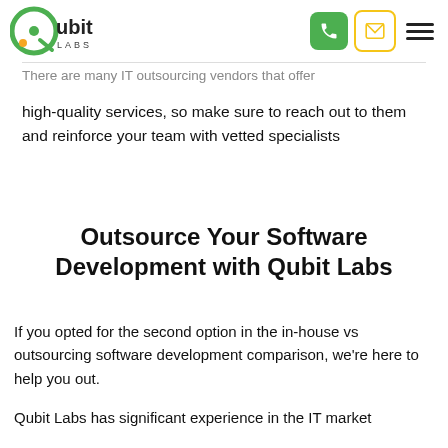[Figure (logo): Qubit Labs logo — green circle Q with orange dot, text 'Qubit LABS' in black]
There are many IT outsourcing vendors that offer high-quality services, so make sure to reach out to them and reinforce your team with vetted specialists
Outsource Your Software Development with Qubit Labs
If you opted for the second option in the in-house vs outsourcing software development comparison, we're here to help you out.
Qubit Labs has significant experience in the IT market